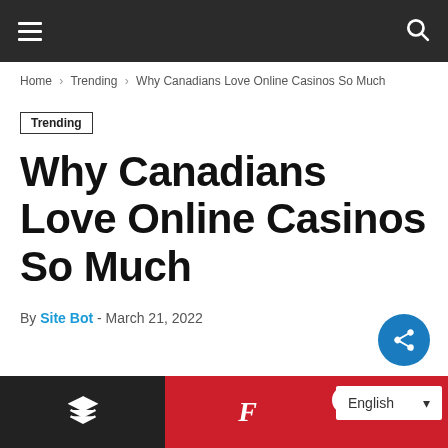Navigation bar with hamburger menu and search icon
Home › Trending › Why Canadians Love Online Casinos So Much
Trending
Why Canadians Love Online Casinos So Much
By Site Bot - March 21, 2022
Share button and bottom toolbar with language selector (English)